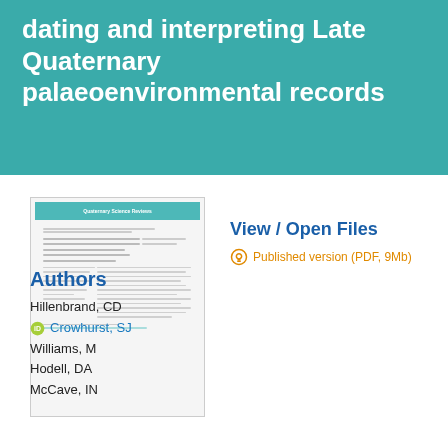dating and interpreting Late Quaternary palaeoenvironmental records
[Figure (screenshot): Thumbnail image of the published paper first page showing journal header, title, authors, and abstract in small preview format]
View / Open Files
Published version (PDF, 9Mb)
Authors
Hillenbrand, CD
Crowhurst, SJ
Williams, M
Hodell, DA
McCave, IN